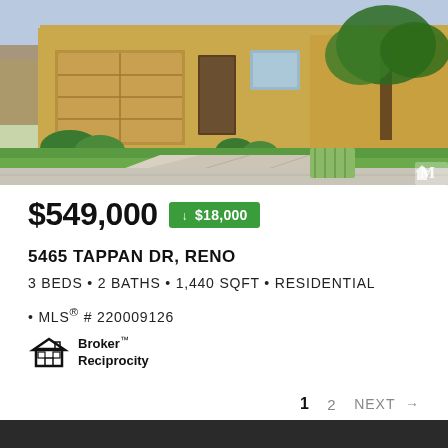[Figure (photo): Exterior photo of a single-family residential home at 5465 Tappan Dr, Reno. Shows a tan/yellow stucco house with a two-car garage, concrete driveway, green lawn, and mature tree. A green utility box is visible in the yard. Watermark 'M' logo in bottom-right corner.]
$549,000 ↓ $18,000
5465 TAPPAN DR, RENO
3 BEDS • 2 BATHS • 1,440 SQFT • RESIDENTIAL
• MLS® # 220009126
[Figure (logo): Broker Reciprocity logo showing a small house icon with the text 'Broker Reciprocity']
1 2 NEXT →